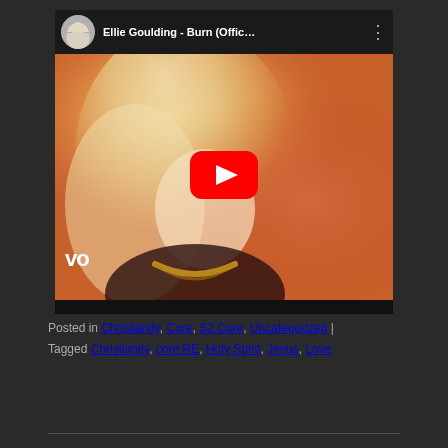[Figure (screenshot): YouTube video embed showing Ellie Goulding - Burn (Offic... with channel avatar, video title, three-dot menu, and a thumbnail of a blonde woman with a gold chain necklace against an orange/red background, with a YouTube play button overlay and 'vo' watermark in bottom left]
Posted in Christianity, Core, S2 Core, Uncategorized | Tagged Christianity, core RE, Holy Spirit, Jesus, Love